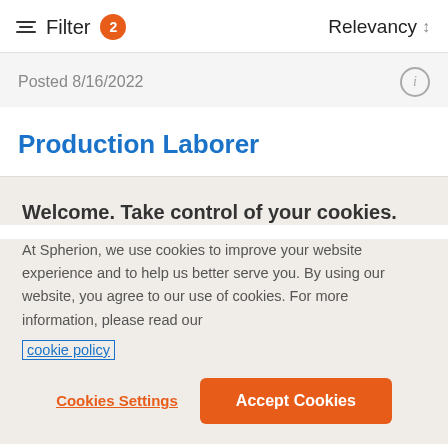Filter 2   Relevancy
Posted 8/16/2022
Production Laborer
Welcome. Take control of your cookies.
At Spherion, we use cookies to improve your website experience and to help us better serve you. By using our website, you agree to our use of cookies. For more information, please read our cookie policy
Cookies Settings   Accept Cookies